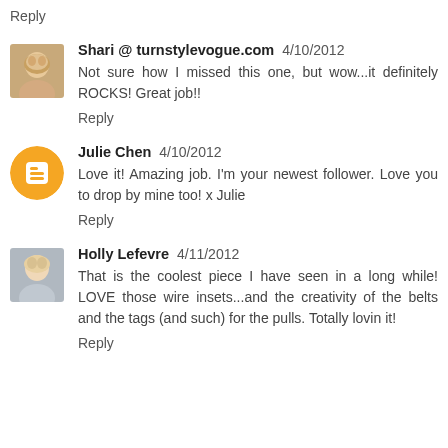Reply
Shari @ turnstylevogue.com 4/10/2012
Not sure how I missed this one, but wow...it definitely ROCKS! Great job!!
Reply
Julie Chen 4/10/2012
Love it! Amazing job. I'm your newest follower. Love you to drop by mine too! x Julie
Reply
Holly Lefevre 4/11/2012
That is the coolest piece I have seen in a long while! LOVE those wire insets...and the creativity of the belts and the tags (and such) for the pulls. Totally lovin it!
Reply